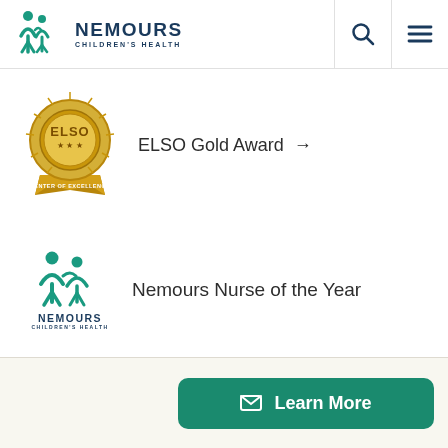[Figure (logo): Nemours Children's Health logo in header with teal figures icon and navy text]
[Figure (logo): ELSO Gold Award medallion badge]
ELSO Gold Award →
[Figure (logo): Nemours Children's Health teal logo with figures icon]
Nemours Nurse of the Year
Learn More